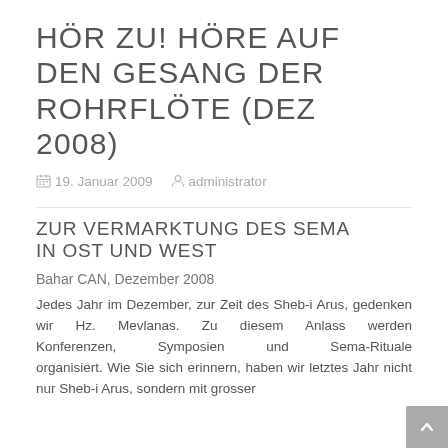HÖR ZU! HÖRE AUF DEN GESANG DER ROHRFLÖTE (DEZ 2008)
19. Januar 2009   administrator
ZUR VERMARKTUNG DES SEMA IN OST UND WEST
Bahar CAN, Dezember 2008
Jedes Jahr im Dezember, zur Zeit des Sheb-i Arus, gedenken wir Hz. Mevlanas. Zu diesem Anlass werden Konferenzen, Symposien und Sema-Rituale organisiert. Wie Sie sich erinnern, haben wir letztes Jahr nicht nur Sheb-i Arus, sondern mit grosser…